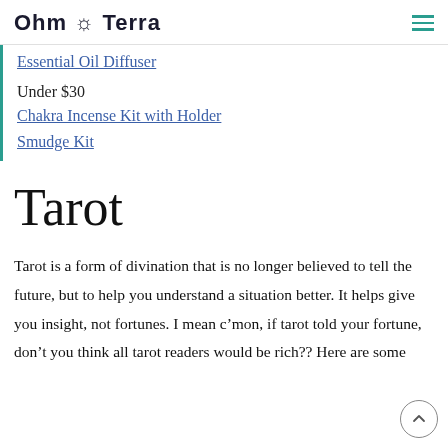Ohm Terra
Essential Oil Diffuser
Under $30
Chakra Incense Kit with Holder
Smudge Kit
Tarot
Tarot is a form of divination that is no longer believed to tell the future, but to help you understand a situation better. It helps give you insight, not fortunes. I mean c’mon, if tarot told your fortune, don’t you think all tarot readers would be rich?? Here are some